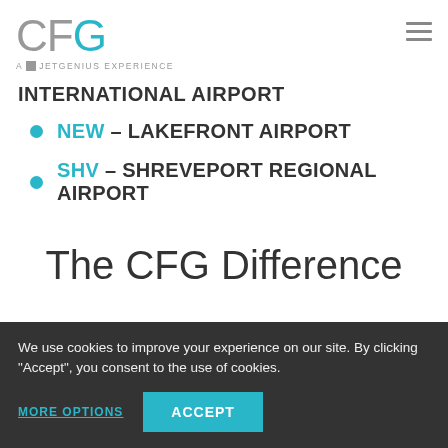CFG – A JETGENIUS EXPERIENCE
INTERNATIONAL AIRPORT
NEW – LAKEFRONT AIRPORT
SHV – SHREVEPORT REGIONAL AIRPORT
The CFG Difference
We use cookies to improve your experience on our site. By clicking "Accept", you consent to the use of cookies.
MORE OPTIONS   ACCEPT